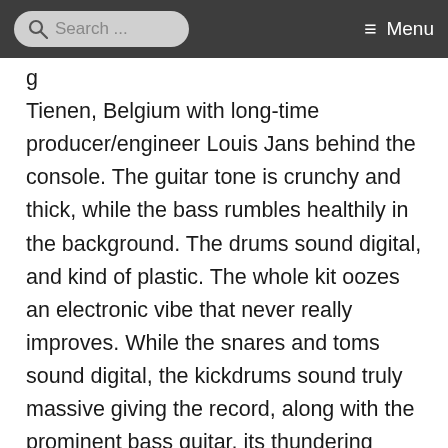Search ... Menu
g
Tienen, Belgium with long-time producer/engineer Louis Jans behind the console. The guitar tone is crunchy and thick, while the bass rumbles healthily in the background. The drums sound digital, and kind of plastic. The whole kit oozes an electronic vibe that never really improves. While the snares and toms sound digital, the kickdrums sound truly massive giving the record, along with the prominent bass guitar, its thundering bass-heaviness and weight. It is unclear whether an electronic drum kit was used during these sessons, or that it was merely due to production choices on the band's end. Similarly a studio filter, or processor, was used on the grunts and rasps of bass guitarist Gunther Theys, which